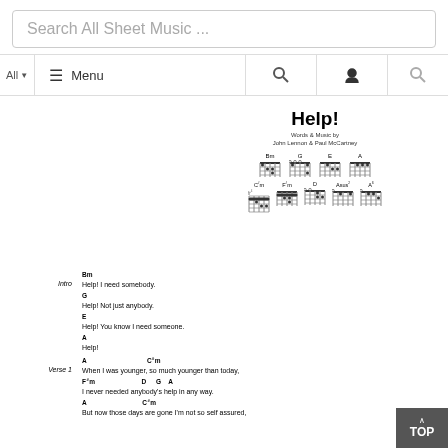Search All Sheet Music ...
[Figure (screenshot): Navigation bar with All dropdown, hamburger Menu icon, search icon, user icon, and search icon]
Help!
Words & Music by
John Lennon & Paul McCartney
[Figure (other): Guitar chord diagrams for Bm, G, E, A (top row) and C#m, F#m, D, Asus2, A6 (bottom row)]
Intro
Bm
Help! I need somebody.
G
Help! Not just anybody.
E
Help! You know I need someone.
A
Help!
Verse 1
A                        C#m
When I was younger, so much younger than today,
F#m                        D      G   A
I never needed anybody's help in any way.
A                       C#m
But now those days are gone I'm not so self assured,